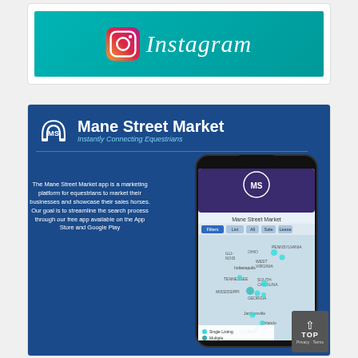[Figure (logo): Instagram logo banner on teal background with Instagram wordmark in white italic script]
[Figure (infographic): Mane Street Market advertisement on blue background. Shows horseshoe MS logo, title 'Mane Street Market', subtitle 'Instantly Connecting Equestrians', text about the app being a marketing platform for equestrians, and a smartphone showing the app interface with a map.]